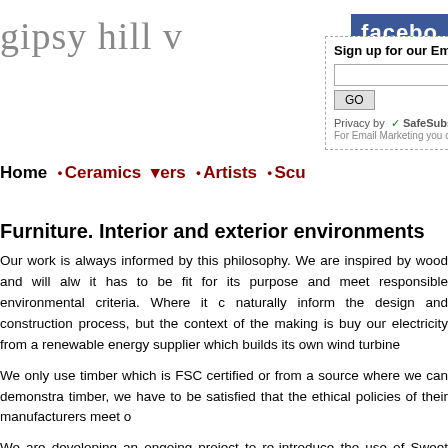gipsy hill v
[Figure (screenshot): Email newsletter signup box with input field and GO button, SafeSubscribe privacy notice]
[Figure (logo): Facebook logo badge (blue)]
Home · Ceramics · [ers] · Artists · Scu
Furniture. Interior and exterior environments
Our work is always informed by this philosophy. We are inspired by wood and will alw it has to be fit for its purpose and meet responsible environmental criteria. Where it c naturally inform the design and construction process, but the context of the making is buy our electricity from a renewable energy supplier which builds its own wind turbine
We only use timber which is FSC certified or from a source where we can demonstra timber, we have to be satisfied that the ethical policies of their manufacturers meet o
We are developing an ongoing project to re-introduce the use of Sweet Chestnut in f coppiced woodland, traditionally on a 15 to 20 year cycle.
Coppicing is the management of certain species which can be cut right back and will supported by a mature root structure and relatively fast. Of course, rapid growth mea
Coppicing supports age old rural skills and livelihoods and allows light into the woodl
This beautiful timber was widely used in the past but, for a variety of reasons recent